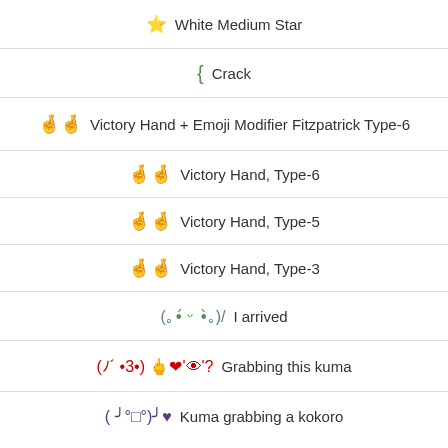⭐ White Medium Star
{ Crack
🤞🤞 Victory Hand + Emoji Modifier Fitzpatrick Type-6
🤞🤞 Victory Hand, Type-6
🤞🤞 Victory Hand, Type-5
🤞🤞 Victory Hand, Type-3
(。•́ ᵕ •̀。)/  I arrived
(ﾉ´ •3•) ᕙ(⌐■_■)ᕗ  Grabbing this kuma
(╯°□°)╯♥  Kuma grabbing a kokoro